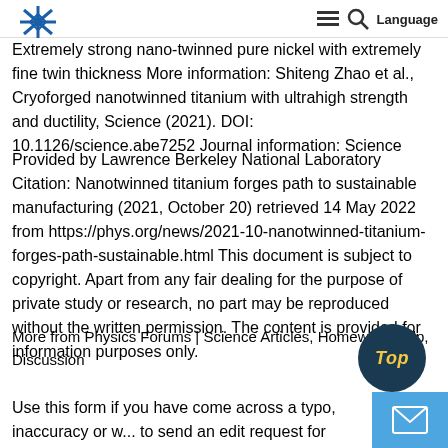Extremely strong nano-twinned pure nickel with extremely fine twin thickness More information: Shiteng Zhao et al., Cryoforged nanotwinned titanium with ultrahigh strength and ductility, Science (2021). DOI: 10.1126/science.abe7252 Journal information: Science
Provided by Lawrence Berkeley National Laboratory Citation: Nanotwinned titanium forges path to sustainable manufacturing (2021, October 20) retrieved 14 May 2022 from https://phys.org/news/2021-10-nanotwinned-titanium-forges-path-sustainable.html This document is subject to copyright. Apart from any fair dealing for the purpose of private study or research, no part may be reproduced without the written permission. The content is provided for information purposes only.
More from Physics Forums | Science Articles, Homework Help, Discussion
Use this form if you have come across a typo, inaccuracy or w... to send an edit request for the content on this page. For genera...